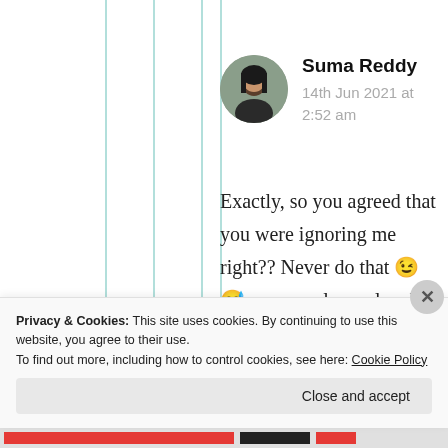[Figure (photo): Circular avatar photo of Suma Reddy, a woman with dark hair]
Suma Reddy
14th Jun 2021 at 2:52 am
Exactly, so you agreed that you were ignoring me right?? Never do that 😉😅 you are always lovely dear one 😇❤✌
Privacy & Cookies: This site uses cookies. By continuing to use this website, you agree to their use.
To find out more, including how to control cookies, see here: Cookie Policy
Close and accept